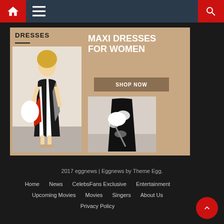Navigation bar with home, menu, and search icons
[Figure (photo): Advertisement banner for Maxi Dresses for Women. Left side shows a woman wearing a black and white geometric print maxi dress. Right side has text 'MAXI DRESSES FOR WOMEN' with a 'SHOP NOW' button and a photo of a black maxi dress with white floral print.]
2017 eggnews | Eggnews by Theme Egg.
Home   News   CelebsFans Exclusive   Entertainment
Upcoming Movies   Movies   Singers   About Us
Privacy Policy